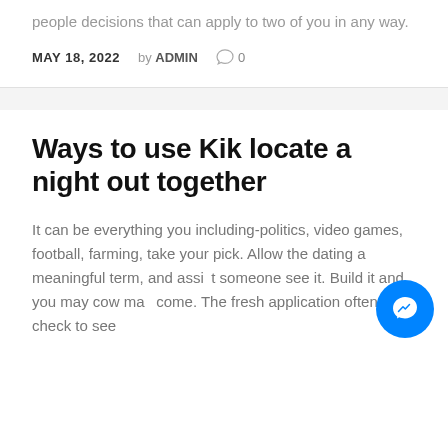people decisions that can apply to two of you in any way.
MAY 18, 2022  by ADMIN  0
Ways to use Kik locate a night out together
It can be everything you including-politics, video games, football, farming, take your pick. Allow the dating a meaningful term, and assist someone see it. Build it and you may cow may come. The fresh application often check to see